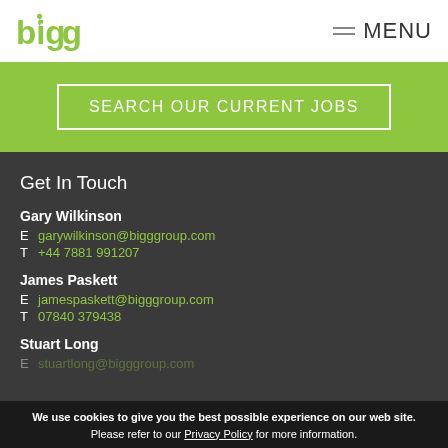bigg MENU
SEARCH OUR CURRENT JOBS
Get In Touch
Gary Wilkinson
E garywilkinson@bigggroup.com
T +44 7881 991207
James Paskett
E jamespaskett@bigggroup.com
T 07840 379438
Stuart Long
We use cookies to give you the best possible experience on our web site. Please refer to our Privacy Policy for more information.